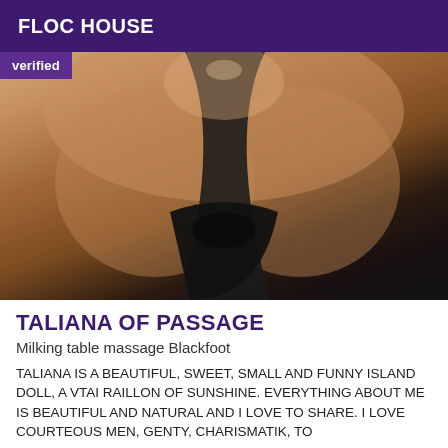FLOC HOUSE
[Figure (photo): Close-up photo of a woman wearing a black low-cut top, with a purple 'Verified' badge overlay in the top-left corner.]
TALIANA OF PASSAGE
Milking table massage Blackfoot
TALIANA IS A BEAUTIFUL, SWEET, SMALL AND FUNNY ISLAND DOLL, A VTAI RAILLON OF SUNSHINE. EVERYTHING ABOUT ME IS BEAUTIFUL AND NATURAL AND I LOVE TO SHARE. I LOVE COURTEOUS MEN, GENTY, CHARISMATIK, TO